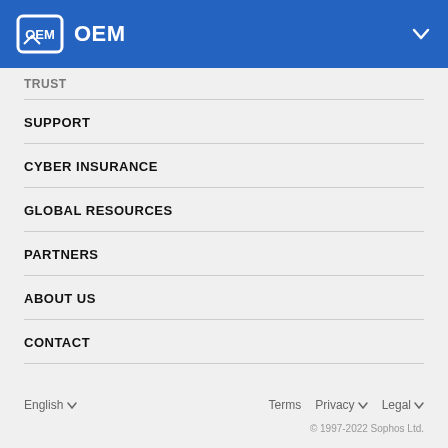OEM
TRUST
SUPPORT
CYBER INSURANCE
GLOBAL RESOURCES
PARTNERS
ABOUT US
CONTACT
English   Terms   Privacy   Legal   © 1997-2022 Sophos Ltd.